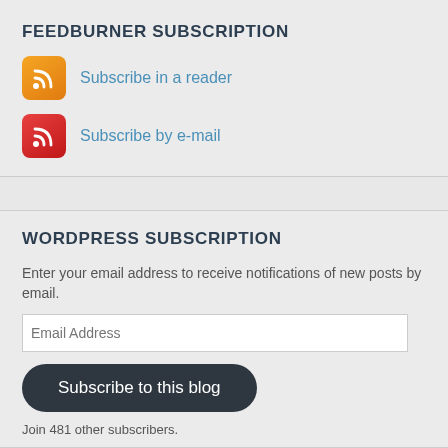FEEDBURNER SUBSCRIPTION
Subscribe in a reader
Subscribe by e-mail
WORDPRESS SUBSCRIPTION
Enter your email address to receive notifications of new posts by email.
Email Address
Subscribe to this blog
Join 481 other subscribers.